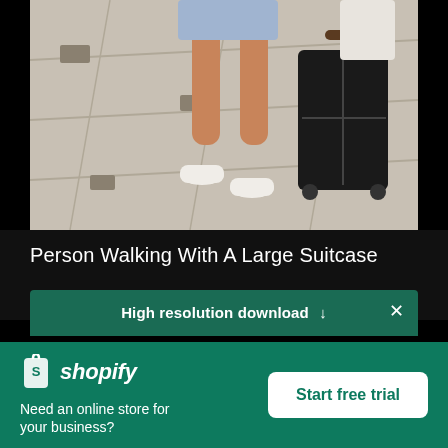[Figure (photo): Photo of a person's legs from the knees down, wearing white sneakers and short denim shorts, walking and pulling a large black rolling suitcase on a gray paved surface.]
Person Walking With A Large Suitcase
High resolution download ↓
[Figure (logo): Shopify logo — white shopping bag icon with an 'S' handle, next to the italic word 'shopify' in white.]
Need an online store for your business?
Start free trial